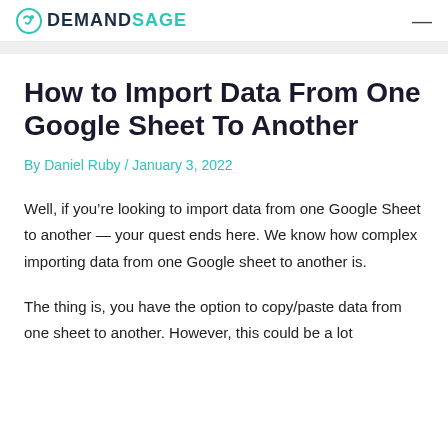DEMANDSAGE
How to Import Data From One Google Sheet To Another
By Daniel Ruby / January 3, 2022
Well, if you’re looking to import data from one Google Sheet to another — your quest ends here. We know how complex importing data from one Google sheet to another is.
The thing is, you have the option to copy/paste data from one sheet to another. However, this could be a lot